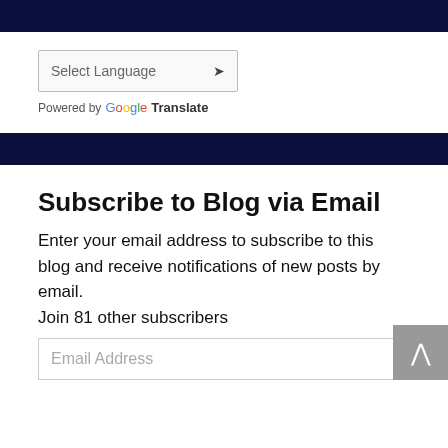[Figure (screenshot): Dark navy blue horizontal banner bar at top of page]
Select Language  ▾
Powered by Google Translate
[Figure (screenshot): Dark navy blue horizontal banner bar in middle of page]
Subscribe to Blog via Email
Enter your email address to subscribe to this blog and receive notifications of new posts by email.
Join 81 other subscribers
Email Address